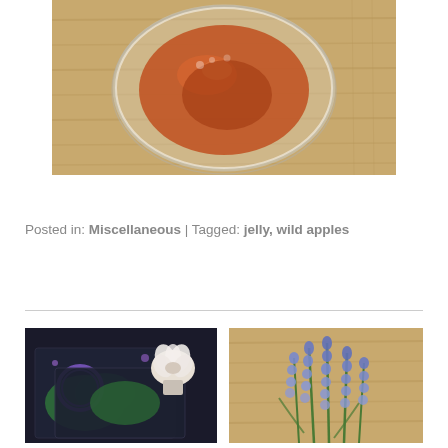[Figure (photo): Top-down view of a glass bowl containing orange/amber jelly on a bamboo wood surface]
Posted in: Miscellaneous | Tagged: jelly, wild apples
[Figure (photo): Flat lay with dark floral cards and a white flower on a dark background]
[Figure (photo): Blue muscari (grape hyacinth) flowers on a bamboo wood surface]